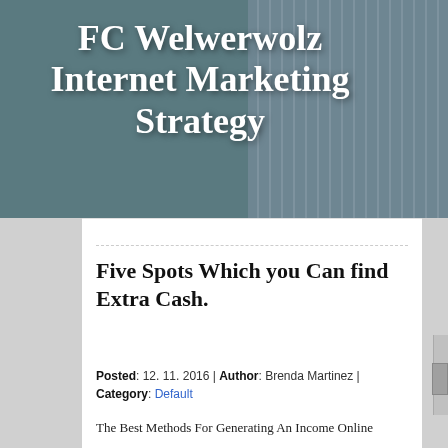FC Welwerwolz Internet Marketing Strategy
Make sure you leave yourself open to
Five Spots Which you Can find Extra Cash.
Posted: 12. 11. 2016 | Author: Brenda Martinez | Category: Default
The Best Methods For Generating An Income Online